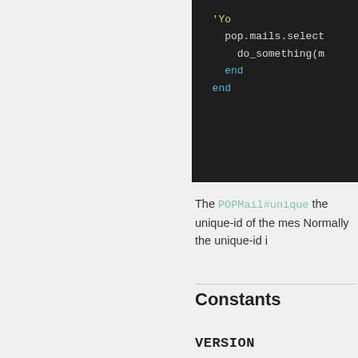[Figure (screenshot): Code block showing Ruby code with 'Yo, pop.mails.select, do_something(m, end, end in dark theme editor]
The POPMail#unique the unique-id of the mes Normally the unique-id i
Constants
VERSION
version of this library
Attributes
address [R]